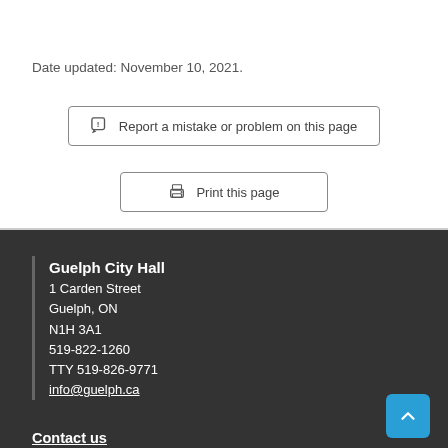Date updated: November 10, 2021.
Report a mistake or problem on this page
Print this page
Guelph City Hall
1 Carden Street
Guelph, ON
N1H 3A1
519-822-1260
TTY 519-826-9771
info@guelph.ca
Contact us
Social media